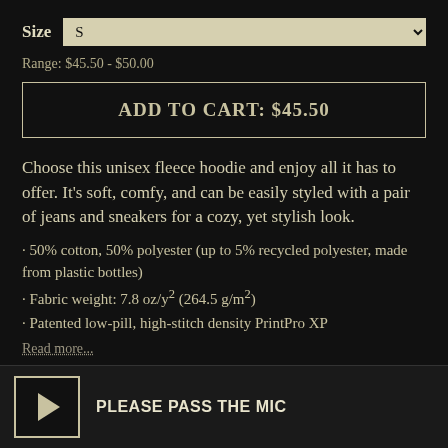Size  S
Range: $45.50 - $50.00
ADD TO CART: $45.50
Choose this unisex fleece hoodie and enjoy all it has to offer. It's soft, comfy, and can be easily styled with a pair of jeans and sneakers for a cozy, yet stylish look.
· 50% cotton, 50% polyester (up to 5% recycled polyester, made from plastic bottles)
· Fabric weight: 7.8 oz/y² (264.5 g/m²)
· Patented low-pill, high-stitch density PrintPro XP
Read more...
PLEASE PASS THE MIC